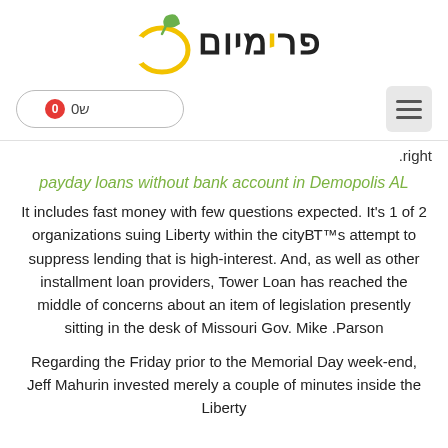[Figure (logo): Primiom (פרימיום) logo with a stylized lemon/apple graphic in yellow-green and a leaf on top, with Hebrew text in black and yellow]
[Figure (screenshot): Navigation bar with a cart button showing badge '0' and label 'ש0', and a hamburger menu button on the right]
.right
payday loans without bank account in Demopolis AL
It includes fast money with few questions expected. It's 1 of 2 organizations suing Liberty within the cityВ's attempt to suppress lending that is high-interest. And, as well as other installment loan providers, Tower Loan has reached the middle of concerns about an item of legislation presently sitting in the desk of Missouri Gov. Mike .Parson
Regarding the Friday prior to the Memorial Day week-end, Jeff Mahurin invested merely a couple of minutes inside the Liberty